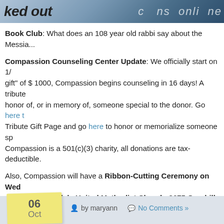[Figure (photo): Partial header image with text 'ked out' on left and decorative text on right, blue/grey newspaper-style background]
Book Club: What does an 108 year old rabbi say about the Messia...
Compassion Counseling Center Update: We officially start on 1/... gift" of $ 1000, Compassion begins counseling in 16 days! A tribute... honor of, or in memory of, someone special to the donor. Go here t... Tribute Gift Page and go here to honor or memorialize someone sp... Compassion is a 501(c)(3) charity, all donations are tax-deductible.
Also, Compassion will have a Ribbon-Cutting Ceremony on Wed... 4:30 pm at Oakdale United Methodist Church, 2675 Overhill Dr... YOU are invited! We will have refreshments and tours for all those... attend, please go here to let me know. Yes, family and friends are w... count" for the sake of ensuring enough refreshments for everyone a...
06 Oct  by maryann  No Comments »